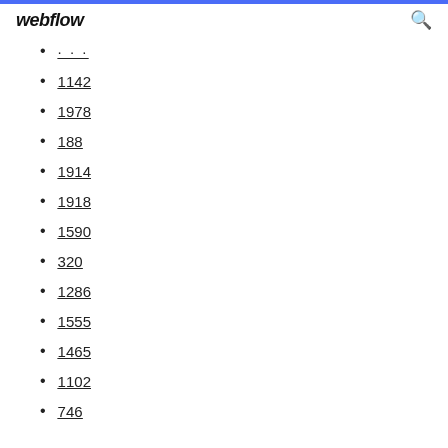webflow
...
1142
1978
188
1914
1918
1590
320
1286
1555
1465
1102
746